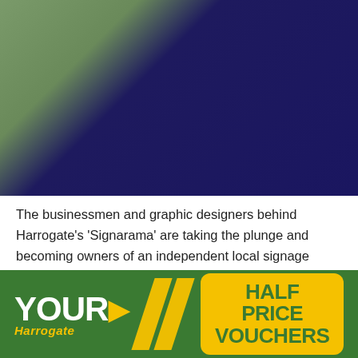[Figure (photo): Two men standing in front of a dark navy sign board listing signage services. The man on the left wears a purple polo shirt, the man on the right wears a dark sweater. The sign behind them lists: VEHICLE GRAPHICS, INTERIOR / EXTERIOR SIGNS, ILLUMINATED SIGNS, WINDOW & DOOR GRAPHICS, BANNERS & SITE BOARDS, PAVEMENT SIGNS, LARGE FORMAT PRINTING, EXHIBITION SIGNAGE, LOGO DESIGN, MAGNETIC SIGNS, SAFETY SIGNS.]
The businessmen and graphic designers behind Harrogate's 'Signarama' are taking the plunge and becoming owners of an independent local signage company.
[Figure (logo): YOUR Harrogate logo on green background with yellow diagonal slashes, and a yellow rounded rectangle containing HALF PRICE VOUCHERS in green bold text.]